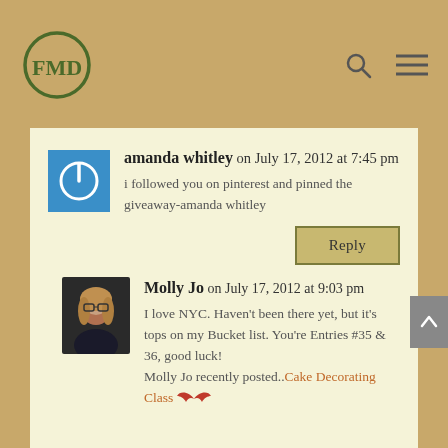FMD logo, search icon, menu icon
amanda whitley on July 17, 2012 at 7:45 pm
i followed you on pinterest and pinned the giveaway-amanda whitley
Reply
Molly Jo on July 17, 2012 at 9:03 pm
I love NYC. Haven't been there yet, but it's tops on my Bucket list. You're Entries #35 & 36, good luck!
Molly Jo recently posted..Cake Decorating Class